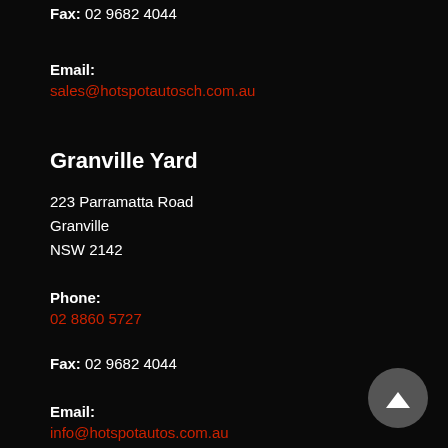Fax: 02 9682 4044
Email: sales@hotspotautosch.com.au
Granville Yard
223 Parramatta Road
Granville
NSW 2142
Phone: 02 8860 5727
Fax: 02 9682 4044
Email: info@hotspotautos.com.au
Granville Commercial & 4X4
272 Parramatta Road
Granville
NSW 2142
Phone: